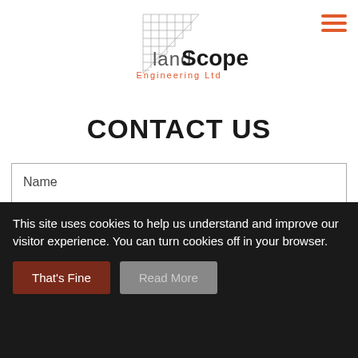[Figure (logo): LandScope Engineering Ltd logo with geometric grid triangle graphic and stylized text]
CONTACT US
Name
Company
This site uses cookies to help us understand and improve our visitor experience. You can turn cookies off in your browser.
That's Fine
Read More